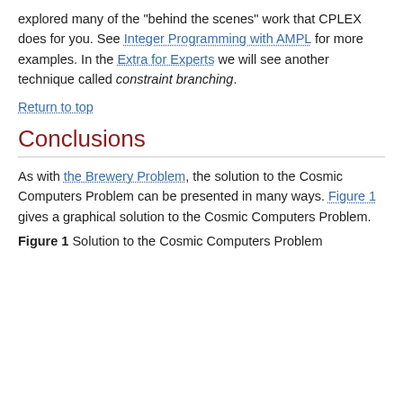explored many of the "behind the scenes" work that CPLEX does for you. See Integer Programming with AMPL for more examples. In the Extra for Experts we will see another technique called constraint branching.
Return to top
Conclusions
As with the Brewery Problem, the solution to the Cosmic Computers Problem can be presented in many ways. Figure 1 gives a graphical solution to the Cosmic Computers Problem.
Figure 1 Solution to the Cosmic Computers Problem